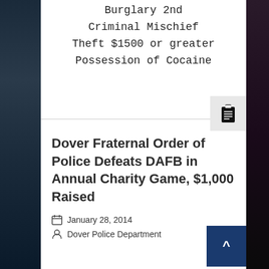Burglary 2nd
Criminal Mischief
Theft $1500 or greater
Possession of Cocaine
Dover Fraternal Order of Police Defeats DAFB in Annual Charity Game, $1,000 Raised
January 28, 2014
Dover Police Department